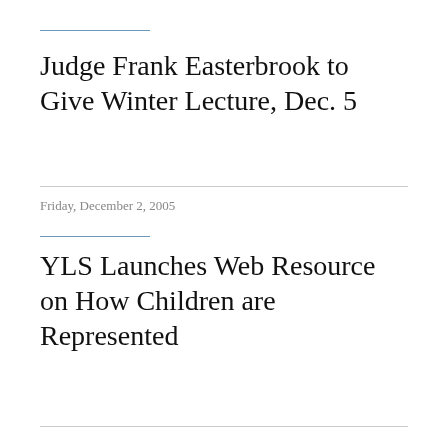Judge Frank Easterbrook to Give Winter Lecture, Dec. 5
Friday, December 2, 2005
YLS Launches Web Resource on How Children are Represented